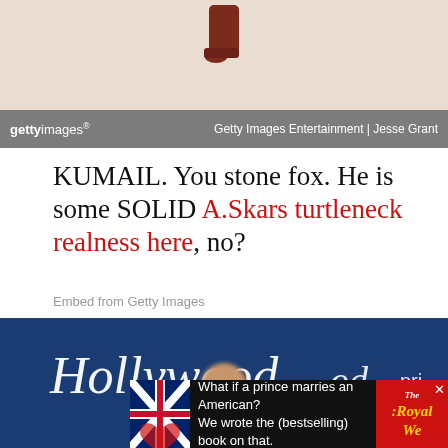[Figure (photo): Top portion of a Getty Images photo showing a dark red shoe against a light beige/cream background, with Getty Images bar overlay reading 'Getty Images Entertainment | Jesse Grant']
KUMAIL. You stone fox. He is some SOLID A.Skars turtleneck realness here, no?
Embed from Getty Images
[Figure (photo): Photo of a woman standing in front of a The Hollywood Reporter backdrop, wearing a black jacket with white collar, with an advertisement banner overlay at the bottom reading 'What if a prince marries an American? We wrote the (bestselling) book on that.' with The Royal We book cover on the right]